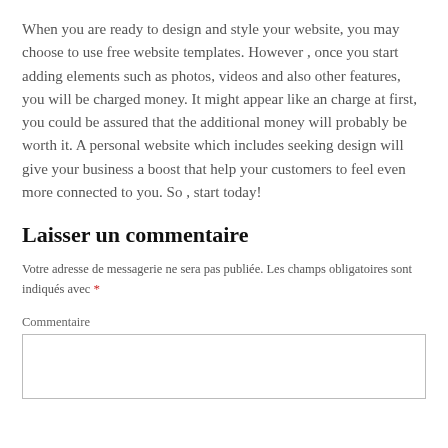When you are ready to design and style your website, you may choose to use free website templates. However , once you start adding elements such as photos, videos and also other features, you will be charged money. It might appear like an charge at first, you could be assured that the additional money will probably be worth it. A personal website which includes seeking design will give your business a boost that help your customers to feel even more connected to you. So , start today!
Laisser un commentaire
Votre adresse de messagerie ne sera pas publiée. Les champs obligatoires sont indiqués avec *
Commentaire